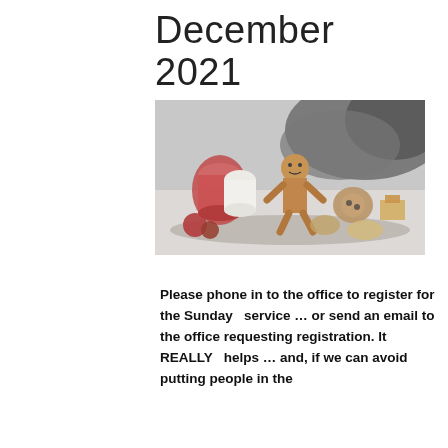December 2021
[Figure (photo): A blurred photograph of Christmas holiday items including what appears to be gingerbread figures, cookies, a mug, and festive decorations against a dark patterned background.]
Please phone in to the office to register for the Sunday  service … or send an email to the office requesting registration. It REALLY  helps … and, if we can avoid putting people in the